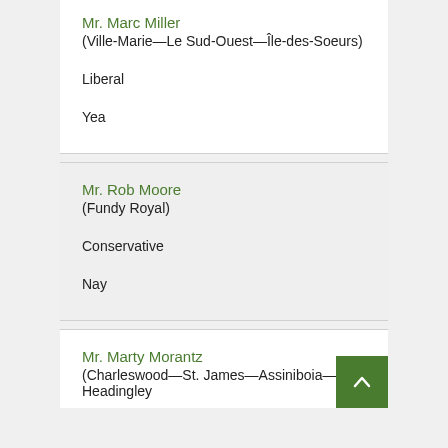Mr. Marc Miller
(Ville-Marie—Le Sud-Ouest—Île-des-Soeurs)
Liberal
Yea
Mr. Rob Moore
(Fundy Royal)
Conservative
Nay
Mr. Marty Morantz
(Charleswood—St. James—Assiniboia—Headingley)